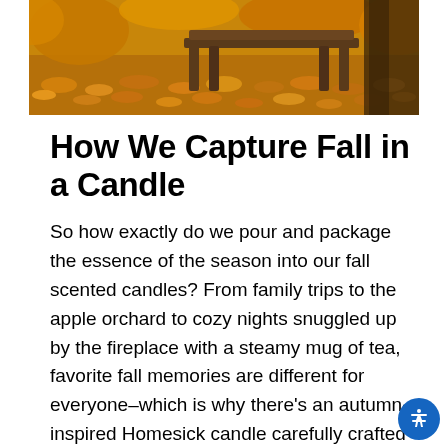[Figure (photo): Autumn scene with fallen orange and yellow leaves covering the ground, with a wooden bench and tree trunk visible in the background.]
How We Capture Fall in a Candle
So how exactly do we pour and package the essence of the season into our fall scented candles? From family trips to the apple orchard to cozy nights snuggled up by the fireplace with a steamy mug of tea, favorite fall memories are different for everyone–which is why there's an autumn-inspired Homesick candle carefully crafted to capture each of these distinct fall experiences in a single jar. We start by thinking of all the quintessential fall activities we look forward to every year as the summer winds down and the leaves start to change, and reminiscing on those